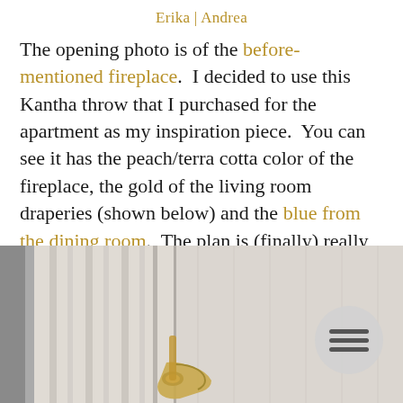Erika | Andrea
The opening photo is of the before-mentioned fireplace.  I decided to use this Kantha throw that I purchased for the apartment as my inspiration piece.  You can see it has the peach/terra cotta color of the fireplace, the gold of the living room draperies (shown below) and the blue from the dining room.  The plan is (finally) really coming together in my head.
[Figure (photo): Photo showing white/cream interior door molding and trim details, with a gold/brass door handle visible at the bottom center. A circular grey menu button icon is overlaid in the lower right.]